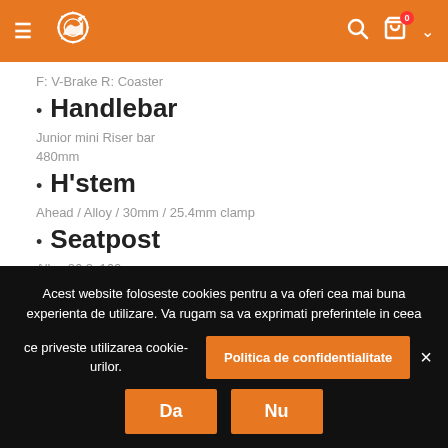Navigation header with logo and icons
F: V-Brake R: Coaster
Handlebar
Junior mini Riser bar
480mm
H'stem
Ahead / Alloy / 30mm / 25.4mm clamp
Seatpost
Alloy 26.8x160mm
Acest website foloseste cookies pentru a va oferi cea mai buna experienta de utilizare. Va rugam sa va exprimati preferintele in ceea ce priveste utilizarea cookie-urilor. Politica de confidentialitate Da Nu